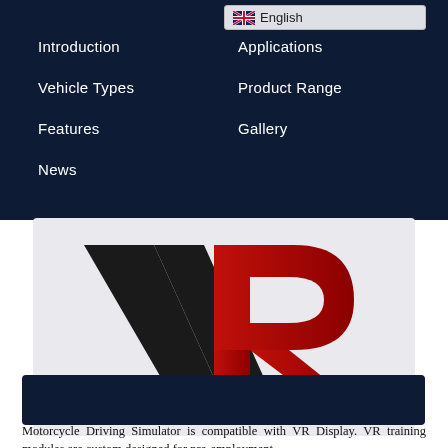English
Introduction
Applications
Vehicle Types
Product Range
Features
Gallery
News
[Figure (logo): VR logo — large black V shape beside a red R letter on a light gray background]
VR training Solution
Motorcycle Driving Simulator is compatible with VR Display. VR training modules are custom designed for pre-employment